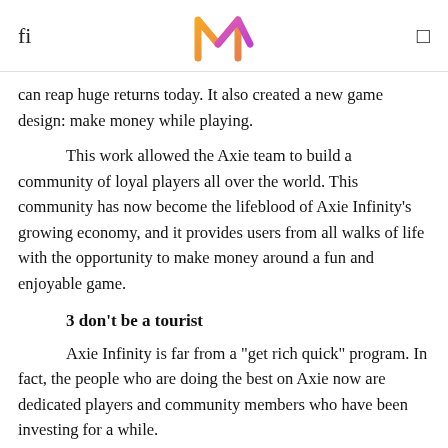fl  [logo]  □
can reap huge returns today. It also created a new game design: make money while playing.
This work allowed the Axie team to build a community of loyal players all over the world. This community has now become the lifeblood of Axie Infinity's growing economy, and it provides users from all walks of life with the opportunity to make money around a fun and enjoyable game.
3 don't be a tourist
Axie Infinity is far from a "get rich quick" program. In fact, the people who are doing the best on Axie now are dedicated players and community members who have been investing for a while.
In other words, if you come to Axie Infinity with a travel mentality—just stop by here to make money easily, then you may be disappointed.